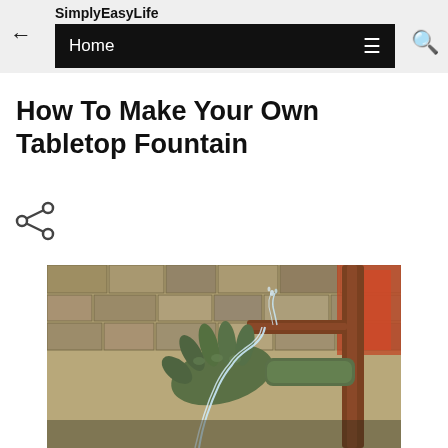SimplyEasyLife
Home
How To Make Your Own Tabletop Fountain
[Figure (photo): A bronze sculptural hand held under a water spigot/pipe with water streaming through the fingers, set against a stone brick wall background with warm colors.]